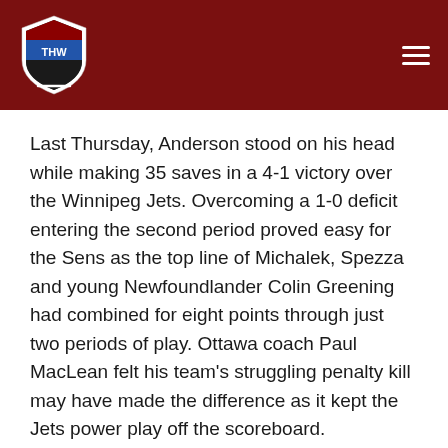THW
Last Thursday, Anderson stood on his head while making 35 saves in a 4-1 victory over the Winnipeg Jets. Overcoming a 1-0 deficit entering the second period proved easy for the Sens as the top line of Michalek, Spezza and young Newfoundlander Colin Greening had combined for eight points through just two periods of play. Ottawa coach Paul MacLean felt his team's struggling penalty kill may have made the difference as it kept the Jets power play off the scoreboard.
“More than half of (the opposition’s goals) were against our penalty-killers,” MacLean said. “They did a good job (tonight). That was the big difference.”